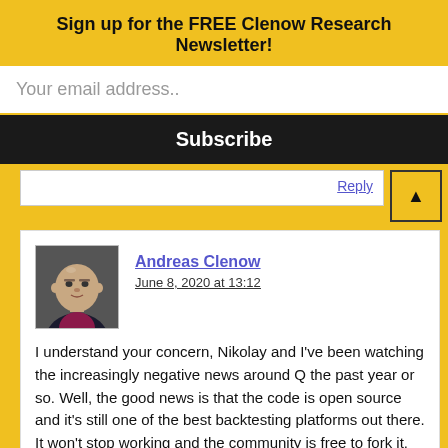Sign up for the FREE Clenow Research Newsletter!
Your email address..
Subscribe
Reply
Andreas Clenow
June 8, 2020 at 13:12
I understand your concern, Nikolay and I've been watching the increasingly negative news around Q the past year or so. Well, the good news is that the code is open source and it's still one of the best backtesting platforms out there. It won't stop working and the community is free to fork it.
Whether or not you want to build your own depends on what you need. Making an all purpose backtester for many asset classes,